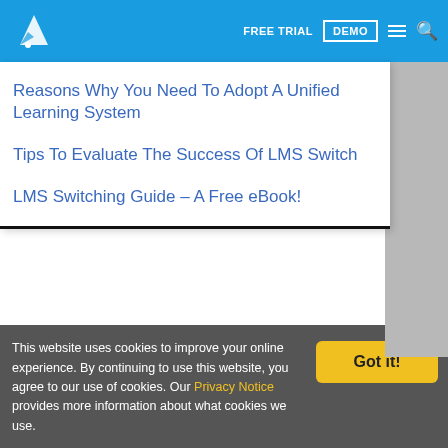FREE TRIAL | DEMO
Reasons Why You Need To Adopt A Unified Learning System
Tips To Evaluate The Success Of LMS Switch
LMS Switching Guide – A Free eBook!
Tags: baywatch theory and technology | disruptive hr technology | hr disrupted
This website uses cookies to improve your online experience. By continuing to use this website, you agree to our use of cookies. Our Privacy Notice provides more information about what cookies we use.